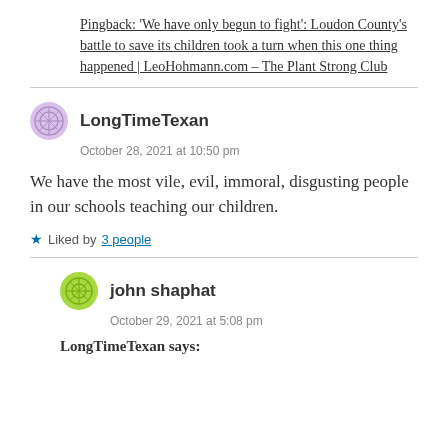Pingback: 'We have only begun to fight': Loudon County's battle to save its children took a turn when this one thing happened | LeoHohmann.com – The Plant Strong Club
LongTimeTexan
October 28, 2021 at 10:50 pm
We have the most vile, evil, immoral, disgusting people in our schools teaching our children.
Liked by 3 people
john shaphat
October 29, 2021 at 5:08 pm
LongTimeTexan says: